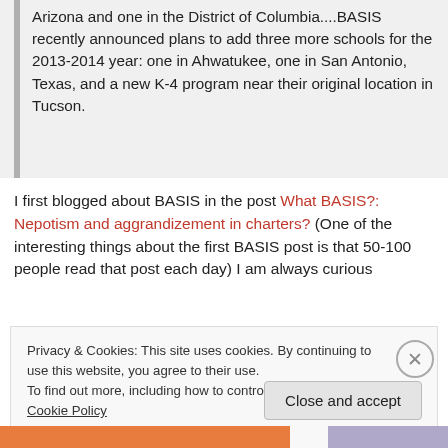Arizona and one in the District of Columbia....BASIS recently announced plans to add three more schools for the 2013-2014 year: one in Ahwatukee, one in San Antonio, Texas, and a new K-4 program near their original location in Tucson.
I first blogged about BASIS in the post What BASIS?: Nepotism and aggrandizement in charters? (One of the interesting things about the first BASIS post is that 50-100 people read that post each day) I am always curious
Privacy & Cookies: This site uses cookies. By continuing to use this website, you agree to their use.
To find out more, including how to control cookies, see here: Cookie Policy
Close and accept